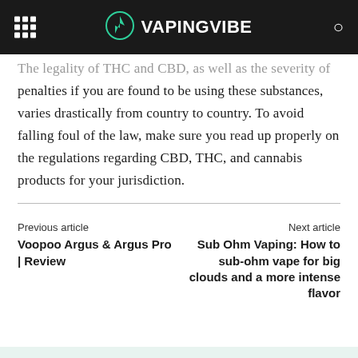VAPINGVIBE
The legality of THC and CBD, as well as the severity of penalties if you are found to be using these substances, varies drastically from country to country. To avoid falling foul of the law, make sure you read up properly on the regulations regarding CBD, THC, and cannabis products for your jurisdiction.
Previous article
Voopoo Argus & Argus Pro | Review
Next article
Sub Ohm Vaping: How to sub-ohm vape for big clouds and a more intense flavor